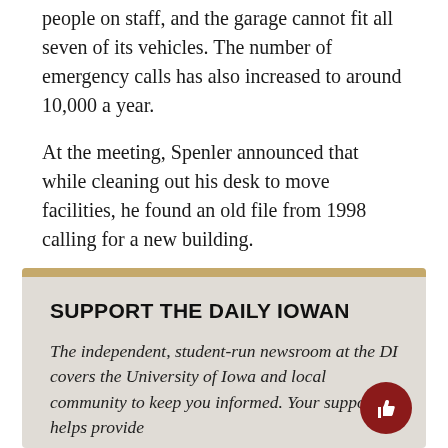people on staff, and the garage cannot fit all seven of its vehicles. The number of emergency calls has also increased to around 10,000 a year.
At the meeting, Spenler announced that while cleaning out his desk to move facilities, he found an old file from 1998 calling for a new building.
“We appreciate the board’s support, and we’re very excited to move forward,” he said.
SUPPORT THE DAILY IOWAN
The independent, student-run newsroom at the DI covers the University of Iowa and local community to keep you informed. Your support helps provide